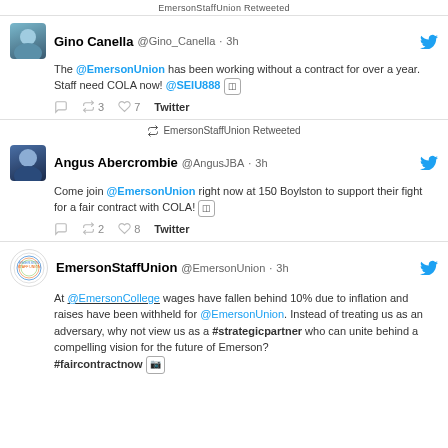EmersonStaffUnion Retweeted
Gino Canella @Gino_Canella · 3h
The @EmersonUnion has been working without a contract for over a year. Staff need COLA now! @SEIU888
Reply Retweet 3 Like 7 Twitter
EmersonStaffUnion Retweeted
Angus Abercrombie @AngusJBA · 3h
Come join @EmersonUnion right now at 150 Boylston to support their fight for a fair contract with COLA!
Reply Retweet 2 Like 8 Twitter
EmersonStaffUnion @EmersonUnion · 3h
At @EmersonCollege wages have fallen behind 10% due to inflation and raises have been withheld for @EmersonUnion. Instead of treating us as an adversary, why not view us as a #strategicpartner who can unite behind a compelling vision for the future of Emerson? #faircontractnow